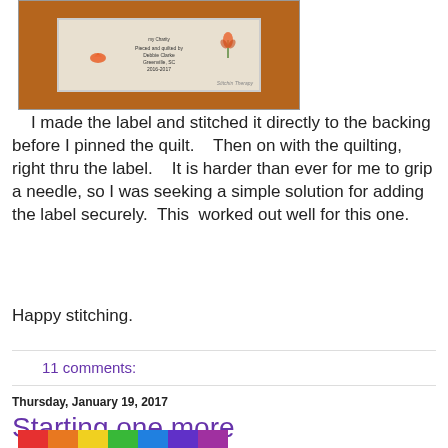[Figure (photo): A decorative quilt label with a brown embossed leather-look frame, showing text 'Pieced and quilted by Debbie Clarke, Greenville, SC, 2016-2017' with a small bird and flower illustration, watermark reads 'Stitchin Therapy']
I made the label and stitched it directly to the backing before I pinned the quilt.    Then on with the quilting, right thru the label.    It is harder than ever for me to grip a needle, so I was seeking a simple solution for adding the label securely.  This  worked out well for this one.
Happy stitching.
11 comments:
Thursday, January 19, 2017
Starting one more
[Figure (photo): Partial view of a colorful rainbow-striped quilt fabric]